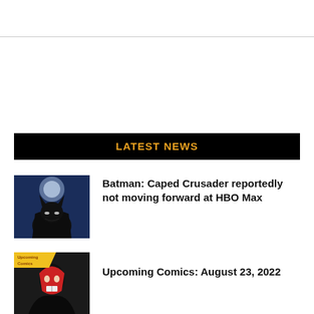LATEST NEWS
[Figure (photo): Batman animated character with dark cape and cowl against a blue moonlit background]
Batman: Caped Crusader reportedly not moving forward at HBO Max
[Figure (photo): Comic book cover image with a red-masked character and yellow 'Upcoming Comics' banner in top left corner]
Upcoming Comics: August 23, 2022